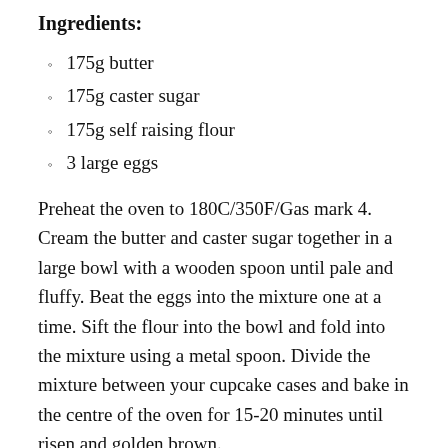Ingredients:
175g butter
175g caster sugar
175g self raising flour
3 large eggs
Preheat the oven to 180C/350F/Gas mark 4. Cream the butter and caster sugar together in a large bowl with a wooden spoon until pale and fluffy. Beat the eggs into the mixture one at a time. Sift the flour into the bowl and fold into the mixture using a metal spoon. Divide the mixture between your cupcake cases and bake in the centre of the oven for 15-20 minutes until risen and golden brown.
Once cooled you can decorate with icing, in this case I simply mixed icing sugar with water. Place your edible